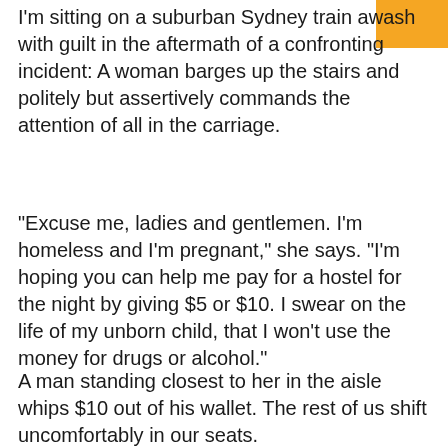I'm sitting on a suburban Sydney train awash with guilt in the aftermath of a confronting incident: A woman barges up the stairs and politely but assertively commands the attention of all in the carriage.
“Excuse me, ladies and gentlemen. I’m homeless and I’m pregnant,” she says. “I’m hoping you can help me pay for a hostel for the night by giving $5 or $10. I swear on the life of my unborn child, that I won’t use the money for drugs or alcohol.”
A man standing closest to her in the aisle whips $10 out of his wallet. The rest of us shift uncomfortably in our seats.